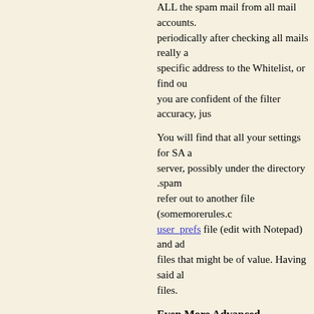ALL the spam mail from all mail accounts. periodically after checking all mails really a specific address to the Whitelist, or find ou you are confident of the filter accuracy, jus
You will find that all your settings for SA a server, possibly under the directory .spam refer out to another file (somemorerules.c user_prefs file (edit with Notepad) and ad files that might be of value. Having said al files.
Even More Advanced
It is possible to make this work even bette emails. I wanted to take this a stage furthe over time, add up to a huge mess that nee but was a little afraid that good emails mig spam at all!
With the above setup, good emails with a tagged as **Spam** BUT, very large email least not by our web host) to save server p message larger than 500KB or an average overcome this and assuming your web ho you wish to clean. Add a new rule, called s Does Not Contain and enter the match ph trash the mail or return a message "Email returned to the sender. Doing it this way a Nominate an address and don't add the fi
Having done that, we then wanted to split that might be valid and that we wanted de